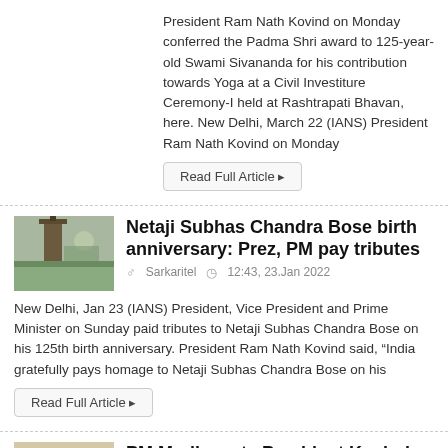President Ram Nath Kovind on Monday conferred the Padma Shri award to 125-year-old Swami Sivananda for his contribution towards Yoga at a Civil Investiture Ceremony-I held at Rashtrapati Bhavan, here. New Delhi, March 22 (IANS) President Ram Nath Kovind on Monday
Read Full Article ▸
[Figure (photo): Thumbnail image related to Netaji Subhas Chandra Bose article]
Netaji Subhas Chandra Bose birth anniversary: Prez, PM pay tributes
Sarkaritel  12:43, 23.Jan 2022
New Delhi, Jan 23 (IANS) President, Vice President and Prime Minister on Sunday paid tributes to Netaji Subhas Chandra Bose on his 125th birth anniversary. President Ram Nath Kovind said, “India gratefully pays homage to Netaji Subhas Chandra Bose on his
Read Full Article ▸
[Figure (photo): Thumbnail image related to PM Modi meets President Kovind article]
PM Modi meets President Kovind over security breach issue
Sarkaritel  15:10, 6.Jan 2022